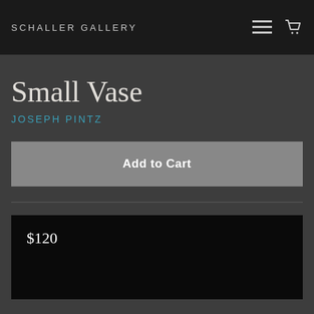SCHALLER GALLERY
Small Vase
JOSEPH PINTZ
Add to Cart
$120